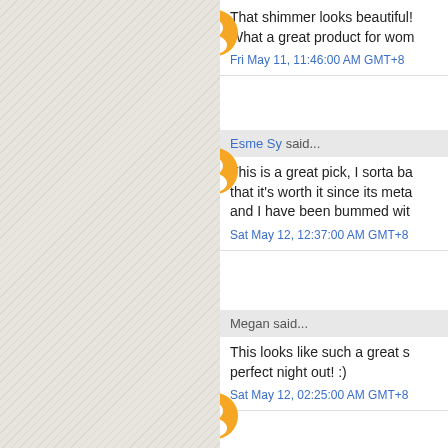That shimmer looks beautiful! What a great product for wom
Fri May 11, 11:46:00 AM GMT+8
Esme Sy said...
This is a great pick, I sorta ba that it's worth it since its meta and I have been bummed wit
Sat May 12, 12:37:00 AM GMT+8
Megan said...
This looks like such a great s perfect night out! :)
Sat May 12, 02:25:00 AM GMT+8